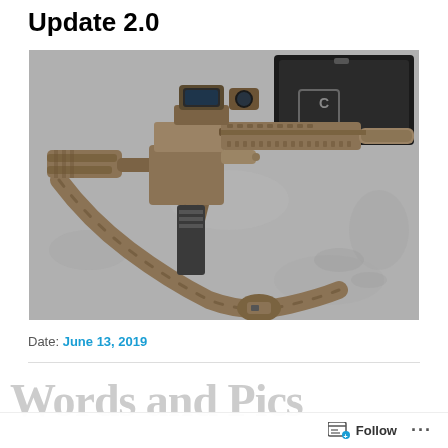Update 2.0
[Figure (photo): Photograph of a tan/FDE AR-15 style rifle with optics (holographic sight with magnifier), suppressor, handguard, and a multicam sling, laid on a concrete floor. A black equipment case is visible in the background.]
Date: June 13, 2019
Words and Pics